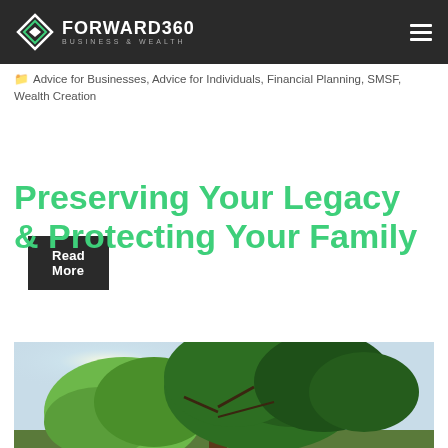FORWARD360 BUSINESS & WEALTH
Advice for Businesses, Advice for Individuals, Financial Planning, SMSF, Wealth Creation
Read More
Preserving Your Legacy & Protecting Your Family
[Figure (photo): A large green tree against a light blue sky, photographed from below, representing legacy and family protection.]